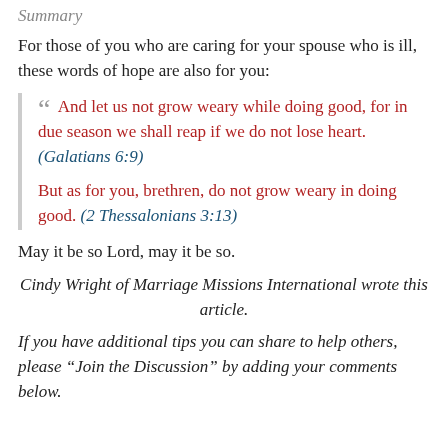Summary
For those of you who are caring for your spouse who is ill, these words of hope are also for you:
“ And let us not grow weary while doing good, for in due season we shall reap if we do not lose heart. (Galatians 6:9)

But as for you, brethren, do not grow weary in doing good. (2 Thessalonians 3:13)
May it be so Lord, may it be so.
Cindy Wright of Marriage Missions International wrote this article.
If you have additional tips you can share to help others, please “Join the Discussion” by adding your comments below.